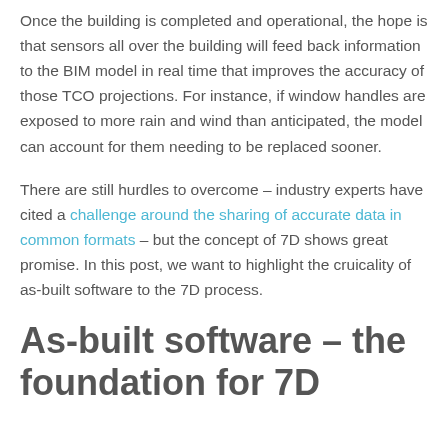Once the building is completed and operational, the hope is that sensors all over the building will feed back information to the BIM model in real time that improves the accuracy of those TCO projections. For instance, if window handles are exposed to more rain and wind than anticipated, the model can account for them needing to be replaced sooner.
There are still hurdles to overcome – industry experts have cited a challenge around the sharing of accurate data in common formats – but the concept of 7D shows great promise. In this post, we want to highlight the cruicality of as-built software to the 7D process.
As-built software – the foundation for 7D